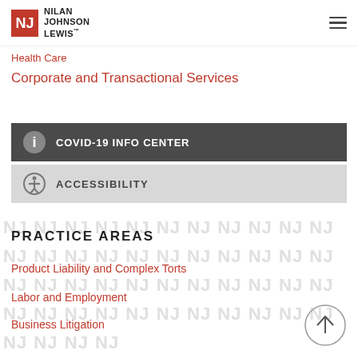NILAN JOHNSON LEWIS
Health Care
Corporate and Transactional Services
COVID-19 INFO CENTER
ACCESSIBILITY
PRACTICE AREAS
Product Liability and Complex Torts
Labor and Employment
Business Litigation